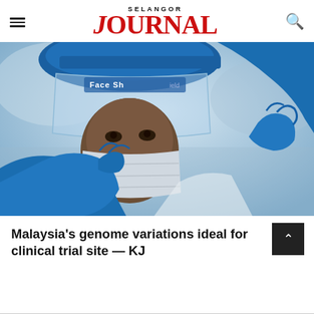SELANGOR JOURNAL
[Figure (photo): A healthcare worker in blue nitrile gloves, face shield, and surgical mask handling a medical swab or test component, photographed close-up against a light blurred background.]
Malaysia's genome variations ideal for clinical trial site — KJ